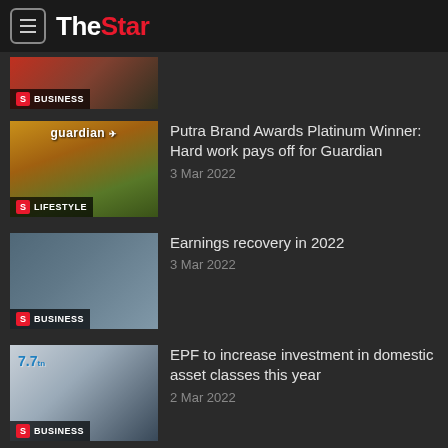The Star
[Figure (screenshot): Thumbnail image with BUSINESS badge (partially visible top item)]
[Figure (photo): Guardian store image with staff in yellow/green uniforms, LIFESTYLE badge]
Putra Brand Awards Platinum Winner: Hard work pays off for Guardian
3 Mar 2022
[Figure (photo): KL city skyline with buildings, BUSINESS badge]
Earnings recovery in 2022
3 Mar 2022
[Figure (photo): EPF presenter in front of chart showing 7.7tn figure, BUSINESS badge]
EPF to increase investment in domestic asset classes this year
2 Mar 2022
[Figure (photo): Industrial manufacturing facility interior, BUSINESS badge]
Manufacturers optimistic about 2022 outlook
1 Mar 2022